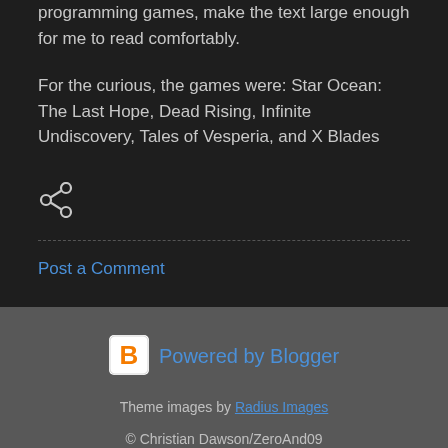programming games, make the text large enough for me to read comfortably.
For the curious, the games were: Star Ocean: The Last Hope, Dead Rising, Infinite Undiscovery, Tales of Vesperia, and X Blades
[Figure (infographic): Share icon (connected dots)]
Post a Comment
[Figure (logo): Blogger logo icon (B in orange/white rounded square)]
Powered by Blogger
Theme images by Radius Images
© Christian Dawson/ZeroAnd09